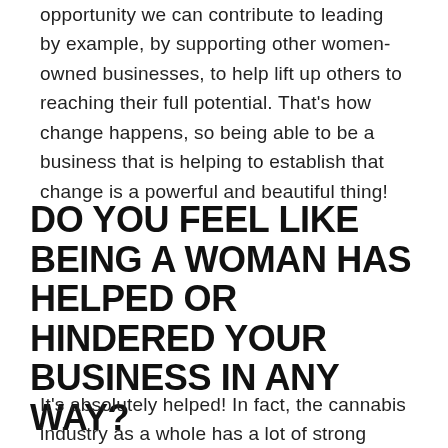opportunity we can contribute to leading by example, by supporting other women-owned businesses, to help lift up others to reaching their full potential. That's how change happens, so being able to be a business that is helping to establish that change is a powerful and beautiful thing!
DO YOU FEEL LIKE BEING A WOMAN HAS HELPED OR HINDERED YOUR BUSINESS IN ANY WAY?
It's absolutely helped! In fact, the cannabis industry as a whole has a lot of strong